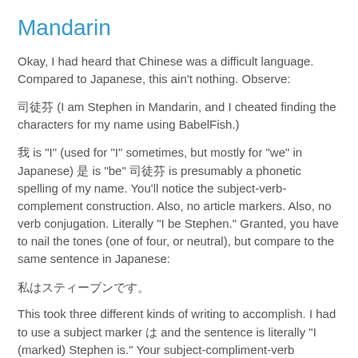Mandarin
Okay, I had heard that Chinese was a difficult language. Compared to Japanese, this ain't nothing. Observe:
司徒芬 (I am Stephen in Mandarin, and I cheated finding the characters for my name using BabelFish.)
我 is "I" (used for "I" sometimes, but mostly for "we" in Japanese) 是 is "be" 司徒芬 is presumably a phonetic spelling of my name. You'll notice the subject-verb-complement construction. Also, no article markers. Also, no verb conjugation. Literally "I be Stephen." Granted, you have to nail the tones (one of four, or neutral), but compare to the same sentence in Japanese:
私はスティーブンです。
This took three different kinds of writing to accomplish. I had to use a subject marker は and the sentence is literally "I (marked) Stephen is." Your subject-compliment-verb construction. And here comes the missing "You had best be i